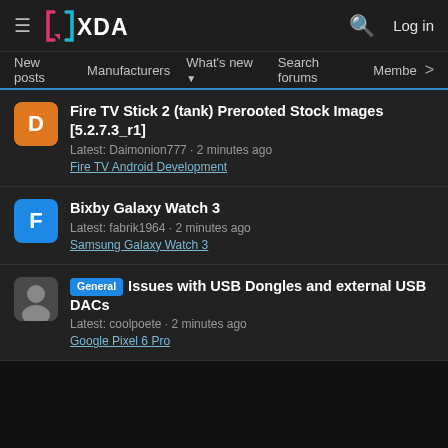XDA Developers - hamburger menu, XDA logo, search icon, Log in
New posts  Manufacturers  What's new  Search forums  Membe >
Fire TV Stick 2 (tank) Prerooted Stock Images [5.2.7.3_r1]
Latest: Daimonion777 · 2 minutes ago
Fire TV Android Development
Bixby Galaxy Watch 3
Latest: fabrik1964 · 2 minutes ago
Samsung Galaxy Watch 3
General Issues with USB Dongles and external USB DACs
Latest: coolpoete · 2 minutes ago
Google Pixel 6 Pro
[Figure (logo): XDA Developers logo (bottom footer, larger version)]